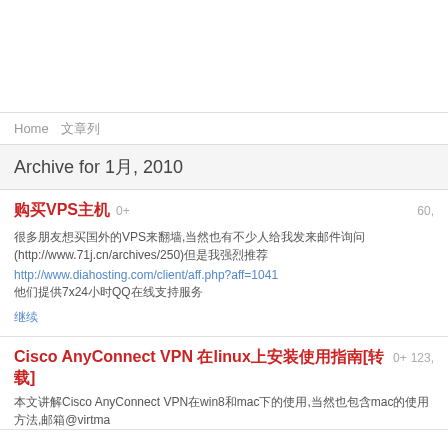Home  文章列
Archive for 1月, 2010
购买VPS主机  0+  60,
很多朋友想买国外的VPS来翻墙,当然也有不少人给我发来邮件询问(http://www.71j.cn/archives/250)但是我强烈推荐 http://www.diahosting.com/client/aff.php?aff=1041 他们提供7x24小时QQ在线支持服务
继续
Cisco AnyConnect VPN 在linux上安装使用指南[转载]  0+  123,
本文讲解Cisco AnyConnect VPN在win8和mac下的使用,当然也包含mac的使用方法,邮箱@virtma